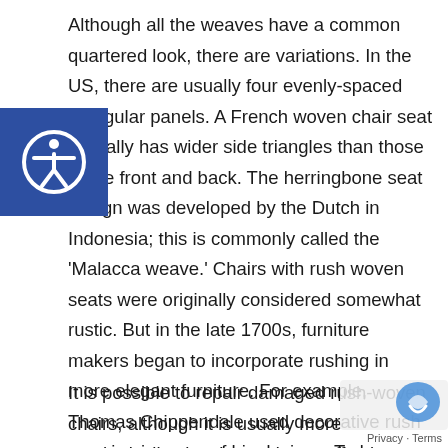Although all the weaves have a common quartered look, there are variations. In the US, there are usually four evenly-spaced triangular panels. A French woven chair seat typically has wider side triangles than those at the front and back. The herringbone seat design was developed by the Dutch in Indonesia; this is commonly called the 'Malacca weave.' Chairs with rush woven seats were originally considered somewhat rustic. But in the late 1700s, furniture makers began to incorporate rushing in more elegant furniture. For example, Thomas Chippendale used decorative rush weaving in some of his designs. Today rushing is used in more modern furniture designs, with the traditional rush weave on the seat and chair back combined with stylish frames.
It is possible to repair damaged rush-woven chairs, although it is usually more aesthetically pleasing and cost-effective to completely replace all the weave. For assistance and advice